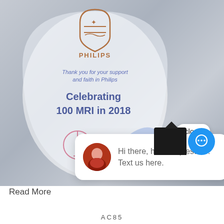[Figure (photo): A glass Philips award plaque engraved with 'Thank you for your support and faith in Philips – Celebrating 100 MRI in 2018', with a light bulb icon. A customer chat popup is overlaid showing an avatar photo and message 'Hi there, have a question? Text us here.' A 'close' button and a blue chat icon button are also visible.]
Read More
AC85